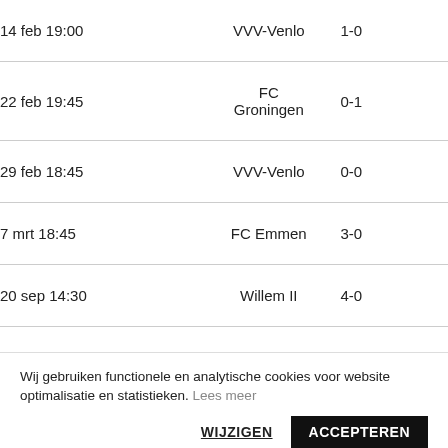| Date | Team | Score |
| --- | --- | --- |
| 14 feb 19:00 | VVV-Venlo | 1-0 |
| 22 feb 19:45 | FC Groningen | 0-1 |
| 29 feb 18:45 | VVV-Venlo | 0-0 |
| 7 mrt 18:45 | FC Emmen | 3-0 |
| 20 sep 14:30 | Willem II | 4-0 |
Wij gebruiken functionele en analytische cookies voor website optimalisatie en statistieken. Lees meer
WIJZIGEN  ACCEPTEREN